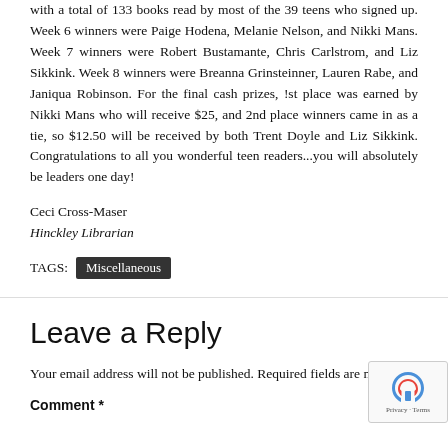with a total of 133 books read by most of the 39 teens who signed up. Week 6 winners were Paige Hodena, Melanie Nelson, and Nikki Mans. Week 7 winners were Robert Bustamante, Chris Carlstrom, and Liz Sikkink. Week 8 winners were Breanna Grinsteinner, Lauren Rabe, and Janiqua Robinson. For the final cash prizes, !st place was earned by Nikki Mans who will receive $25, and 2nd place winners came in as a tie, so $12.50 will be received by both Trent Doyle and Liz Sikkink. Congratulations to all you wonderful teen readers...you will absolutely be leaders one day!
Ceci Cross-Maser
Hinckley Librarian
TAGS: Miscellaneous
Leave a Reply
Your email address will not be published. Required fields are marked *
Comment *